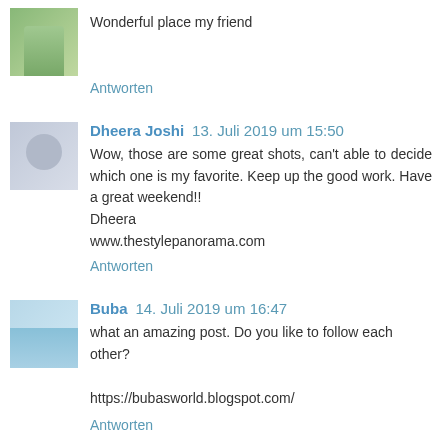Wonderful place my friend
Antworten
Dheera Joshi 13. Juli 2019 um 15:50
Wow, those are some great shots, can't able to decide which one is my favorite. Keep up the good work. Have a great weekend!!
Dheera
www.thestylepanorama.com
Antworten
Buba 14. Juli 2019 um 16:47
what an amazing post. Do you like to follow each other?

https://bubasworld.blogspot.com/
Antworten